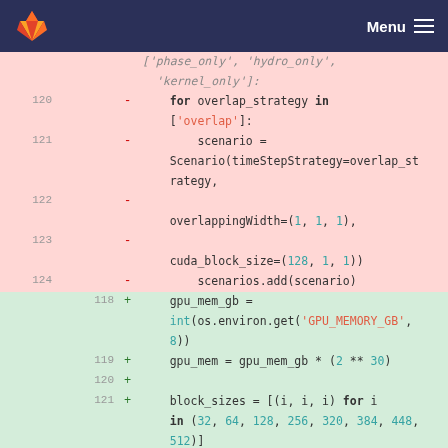Menu
[Figure (screenshot): GitLab code diff view showing deleted lines (pink) with line numbers 120-124 and added lines (green) with line numbers 118-121. The code shows Python code with for loops, Scenario construction with overlap_strategy, overlappingWidth, cuda_block_size parameters, scenarios.add(scenario), and new added code with gpu_mem_gb, gpu_mem, and block_sizes variables.]